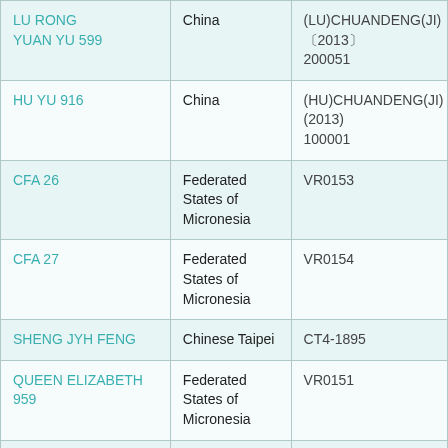| Vessel Name | Flag State | Registration Number |
| --- | --- | --- |
| LU RONG YUAN YU 599 | China | (LU)CHUANDENG(JI)〔2013〕200051 |
| HU YU 916 | China | (HU)CHUANDENG(JI)(2013)100001 |
| CFA 26 | Federated States of Micronesia | VR0153 |
| CFA 27 | Federated States of Micronesia | VR0154 |
| SHENG JYH FENG | Chinese Taipei | CT4-1895 |
| QUEEN ELIZABETH 959 | Federated States of Micronesia | VR0151 |
| SEA ANGEL | Australia | LFB13188 |
| YUN RUN 3 | Panama | 47802-16-A |